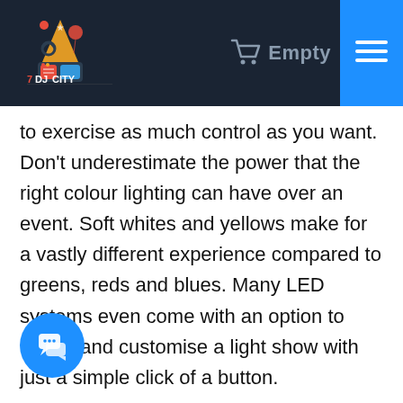DJ City — Empty cart — Menu
to exercise as much control as you want. Don't underestimate the power that the right colour lighting can have over an event. Soft whites and yellows make for a vastly different experience compared to greens, reds and blues. Many LED systems even come with an option to create and customise a light show with just a simple click of a button.
Moreover, LED lighting systems give you enormous flexibility in how you place, adjust and focus the lights. You can angle them the way you want or suspend them over a particular area. If you're looking to light a large party area, it's easy to use